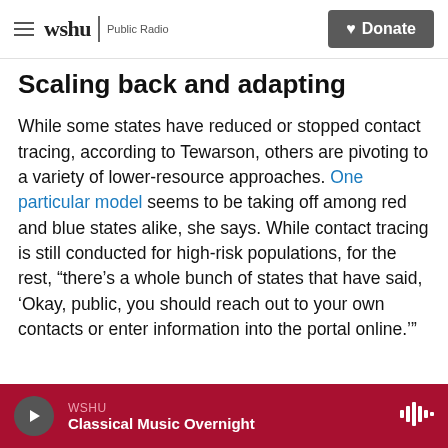wshu Public Radio | Donate
Scaling back and adapting
While some states have reduced or stopped contact tracing, according to Tewarson, others are pivoting to a variety of lower-resource approaches. One particular model seems to be taking off among red and blue states alike, she says. While contact tracing is still conducted for high-risk populations, for the rest, "there's a whole bunch of states that have said, 'Okay, public, you should reach out to your own contacts or enter information into the portal online.'"
WSHU Classical Music Overnight